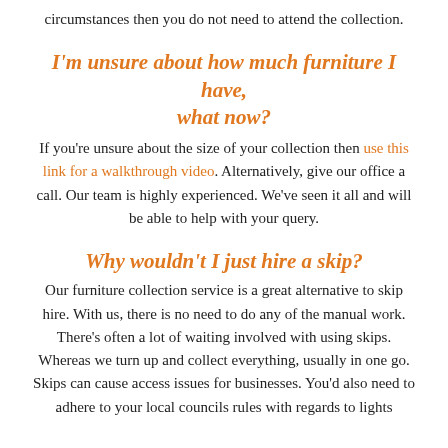circumstances then you do not need to attend the collection.
I'm unsure about how much furniture I have, what now?
If you're unsure about the size of your collection then use this link for a walkthrough video. Alternatively, give our office a call. Our team is highly experienced. We've seen it all and will be able to help with your query.
Why wouldn't I just hire a skip?
Our furniture collection service is a great alternative to skip hire. With us, there is no need to do any of the manual work. There's often a lot of waiting involved with using skips. Whereas we turn up and collect everything, usually in one go. Skips can cause access issues for businesses. You'd also need to adhere to your local councils rules with regards to lights